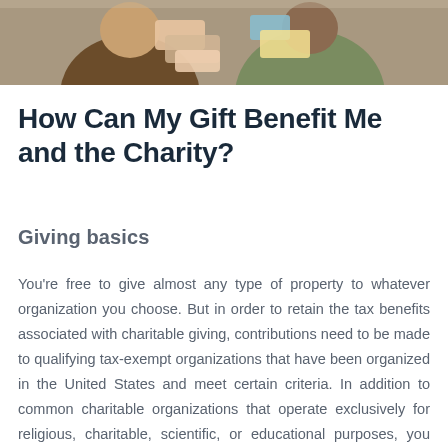[Figure (photo): Two people exchanging or sorting folded clothing/fabric items, a charitable donation scene.]
How Can My Gift Benefit Me and the Charity?
Giving basics
You're free to give almost any type of property to whatever organization you choose. But in order to retain the tax benefits associated with charitable giving, contributions need to be made to qualifying tax-exempt organizations that have been organized in the United States and meet certain criteria. In addition to common charitable organizations that operate exclusively for religious, charitable, scientific, or educational purposes, you may give to veterans' posts, certain fraternal orders, volunteer fire departments, and civil defense organizations but